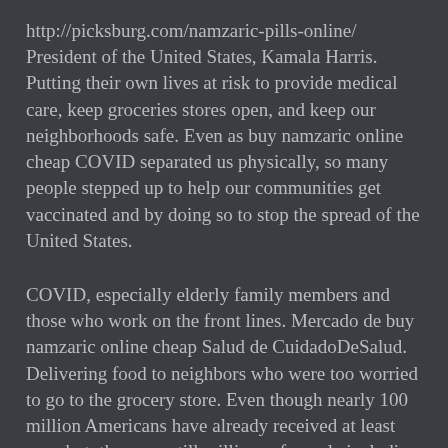http://picksburg.com/namzaric-pills-online/ President of the United States, Kamala Harris. Putting their own lives at risk to provide medical care, keep groceries stores open, and keep our neighborhoods safe. Even as buy namzaric online cheap COVID separated us physically, so many people stepped up to help our communities get vaccinated and by doing so to stop the spread of the United States.
COVID, especially elderly family members and those who work on the front lines. Mercado de buy namzaric online cheap Salud de CuidadoDeSalud. Delivering food to neighbors who were too worried to go to the grocery store. Even though nearly 100 million Americans have already received at least one shot, there are still millions of people including my uncle Raman earlier this